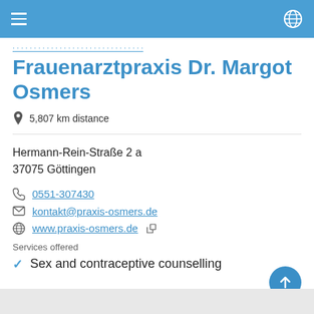Frauenarztpraxis Dr. Margot Osmers
5,807 km distance
Hermann-Rein-Straße 2 a
37075 Göttingen
0551-307430
kontakt@praxis-osmers.de
www.praxis-osmers.de
Services offered
Sex and contraceptive counselling